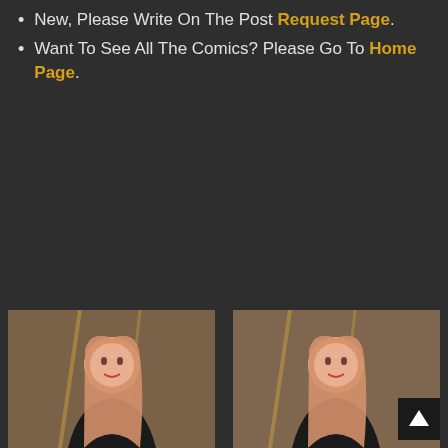New, Please Write On The Post Request Page.
Want To See All The Comics? Please Go To Home Page.
[Figure (photo): Two side-by-side photos of a blonde woman with long hair in an indoor setting with warm lighting and windows in the background.]